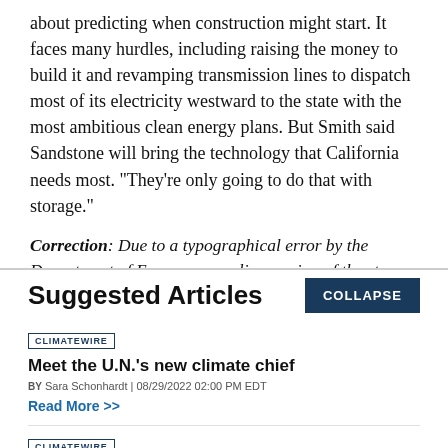about predicting when construction might start. It faces many hurdles, including raising the money to build it and revamping transmission lines to dispatch most of its electricity westward to the state with the most ambitious clean energy plans. But Smith said Sandstone will bring the technology that California needs most. "They're only going to do that with storage."
Correction: Due to a typographical error by the Department of Energy, an earlier version of the story
Suggested Articles
CLIMATEWIRE
Meet the U.N.'s new climate chief
BY Sara Schonhardt | 08/29/2022 02:00 PM EDT
Read More >>
CLIMATEWIRE
With prices soaring, natural gas faces uncertain future